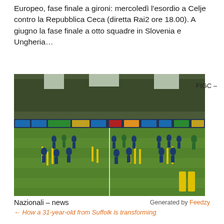Europeo, fase finale a gironi: mercoledì l'esordio a Celje contro la Repubblica Ceca (diretta Rai2 ore 18.00). A giugno la fase finale a otto squadre in Slovenia e Ungheria…
[Figure (photo): Football training session on a grass pitch with multiple players doing drills with yellow marker poles. Trees visible in the background. Advertising boards along the sideline.]
FIGC –
Nazionali – news
Generated by Feedzy
← How a 31-year-old from Suffolk is transforming